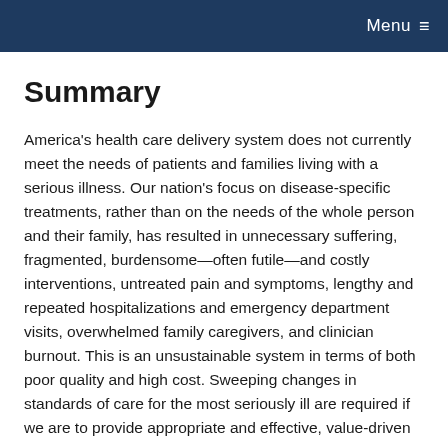Menu ≡
Summary
America's health care delivery system does not currently meet the needs of patients and families living with a serious illness. Our nation's focus on disease-specific treatments, rather than on the needs of the whole person and their family, has resulted in unnecessary suffering, fragmented, burdensome—often futile—and costly interventions, untreated pain and symptoms, lengthy and repeated hospitalizations and emergency department visits, overwhelmed family caregivers, and clinician burnout. This is an unsustainable system in terms of both poor quality and high cost. Sweeping changes in standards of care for the most seriously ill are required if we are to provide appropriate and effective, value-driven